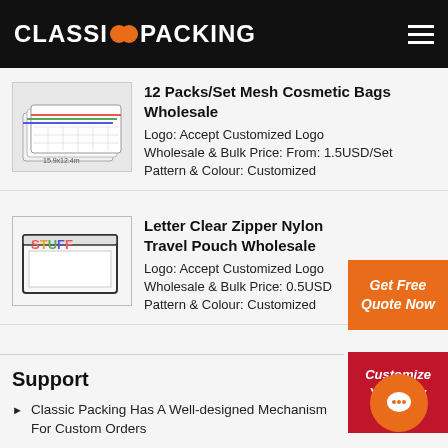CLASSIC PACKING
12 Packs/Set Mesh Cosmetic Bags Wholesale
Logo: Accept Customized Logo
Wholesale & Bulk Price: From: 1.5USD/Set
Pattern & Colour: Customized
Letter Clear Zipper Nylon Travel Pouch Wholesale
Logo: Accept Customized Logo
Wholesale & Bulk Price: 0.5USD
Pattern & Colour: Customized
Get Free Quote Now
Customize Your Bag Now
Support
Classic Packing Has A Well-designed Mechanism For Custom Orders
Sample Order Process